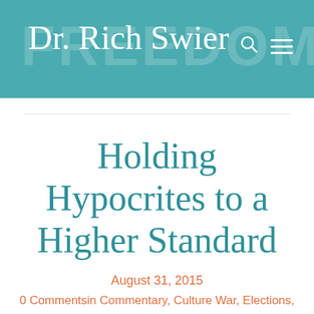Dr. Rich Swier
Holding Hypocrites to a Higher Standard
August 31, 2015
0 Commentsin Commentary, Culture War, Elections,